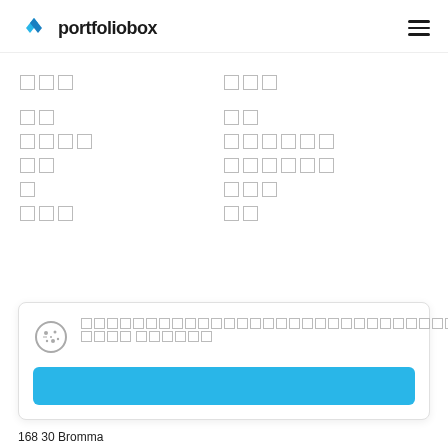portfoliobox
□□□   □□□
□□  □□
□□□□  □□□□□□
□□  □□□□□□
□  □□□
□□□  □□
Cookie notice text with underlined link □□□□□□
□□□□
168 30 Bromma